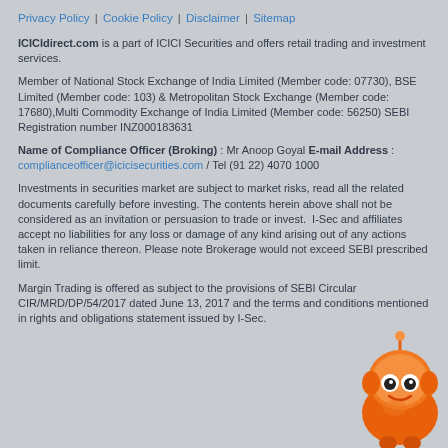Privacy Policy | Cookie Policy | Disclaimer | Sitemap
ICICIdirect.com is a part of ICICI Securities and offers retail trading and investment services.
Member of National Stock Exchange of India Limited (Member code: 07730), BSE Limited (Member code: 103) & Metropolitan Stock Exchange (Member code: 17680),Multi Commodity Exchange of India Limited (Member code: 56250) SEBI Registration number INZ000183631
Name of Compliance Officer (Broking) : Mr Anoop Goyal E-mail Address : complianceofficer@icicisecurities.com / Tel (91 22) 4070 1000
Investments in securities market are subject to market risks, read all the related documents carefully before investing. The contents herein above shall not be considered as an invitation or persuasion to trade or invest. I-Sec and affiliates accept no liabilities for any loss or damage of any kind arising out of any actions taken in reliance thereon. Please note Brokerage would not exceed SEBI prescribed limit.
Margin Trading is offered as subject to the provisions of SEBI Circular CIR/MRD/DP/54/2017 dated June 13, 2017 and the terms and conditions mentioned in rights and obligations statement issued by I-Sec.
[Figure (illustration): Orange cartoon mascot robot character in bottom-right corner]